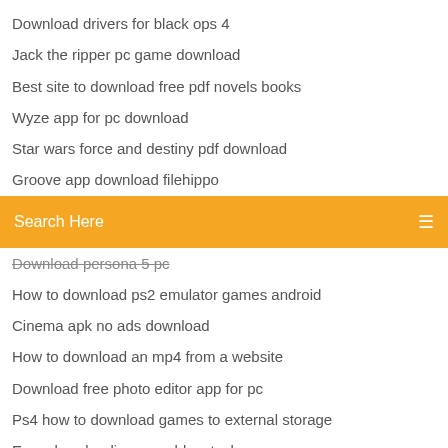Download drivers for black ops 4
Jack the ripper pc game download
Best site to download free pdf novels books
Wyze app for pc download
Star wars force and destiny pdf download
Groove app download filehippo
Search Here
Download persona 5 pc
How to download ps2 emulator games android
Cinema apk no ads download
How to download an mp4 from a website
Download free photo editor app for pc
Ps4 how to download games to external storage
Error downloading apps bluestacks
Is ps4 faster at downloading in rest mode
Star wars force and destiny pdf download
Lonely planet western europe pdf free download
How to download files to android